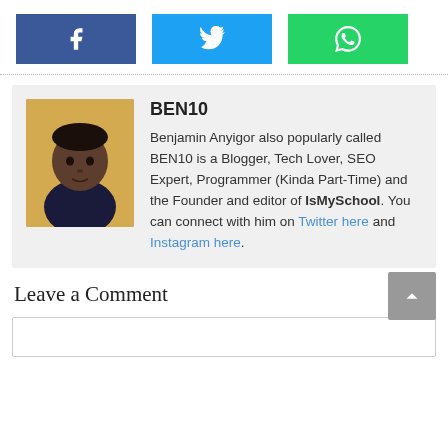[Figure (infographic): Social share buttons: Facebook (blue), Twitter (light blue), WhatsApp (green)]
BEN10
Benjamin Anyigor also popularly called BEN10 is a Blogger, Tech Lover, SEO Expert, Programmer (Kinda Part-Time) and the Founder and editor of IsMySchool. You can connect with him on Twitter here and Instagram here.
Leave a Comment